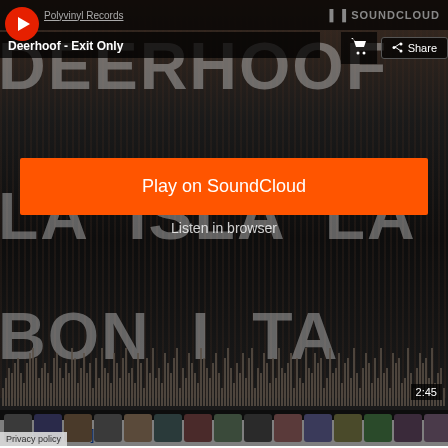[Figure (screenshot): SoundCloud embedded player screenshot showing Deerhoof - Exit Only (La Isla Bonita album) with orange Play on SoundCloud button, waveform, listener avatars, and 2:45 timestamp]
[deerhoof.net]